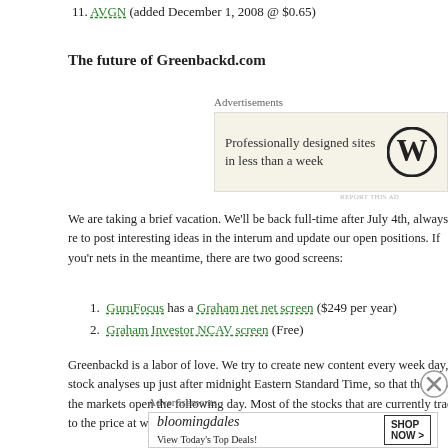11. AVGN (added December 1, 2008 @ $0.65)
The future of Greenbackd.com
Advertisements
[Figure (other): WordPress advertisement: Professionally designed sites in less than a week]
We are taking a brief vacation. We'll be back full-time after July 4th, always re... to post interesting ideas in the interum and update our open positions. If you're... nets in the meantime, there are two good screens:
1. GuruFocus has a Graham net net screen ($249 per year)
2. Graham Investor NCAV screen (Free)
Greenbackd is a labor of love. We try to create new content every week day, a... stock analyses up just after midnight Eastern Standard Time, so that they're a... the markets open the following day. Most of the stocks that are currently tradi... to the price at which we originally identified them traded for a period at a...
Advertisements
[Figure (other): Bloomingdales advertisement: View Today's Top Deals! SHOP NOW >]